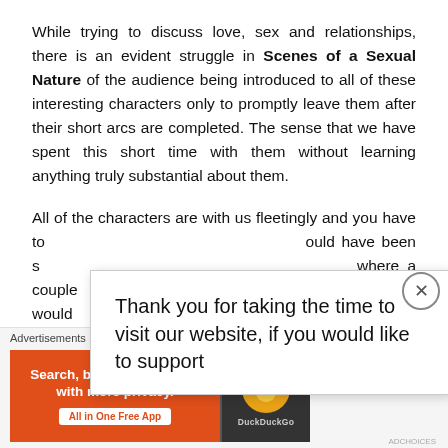While trying to discuss love, sex and relationships, there is an evident struggle in Scenes of a Sexual Nature of the audience being introduced to all of these interesting characters only to promptly leave them after their short arcs are completed. The sense that we have spent this short time with them without learning anything truly substantial about them.
All of the characters are with us fleetingly and you have to [obscured] ould have been s[obscured] where a couple [obscured] into. This would [obscured] ore about [obscured]
[Figure (other): Popup overlay with text: Thank you for taking the time to visit our website, if you would like to support]
[Figure (other): DuckDuckGo advertisement banner: Search, browse, and email with more privacy. All in One Free App. With DuckDuckGo logo.]
Advertisements